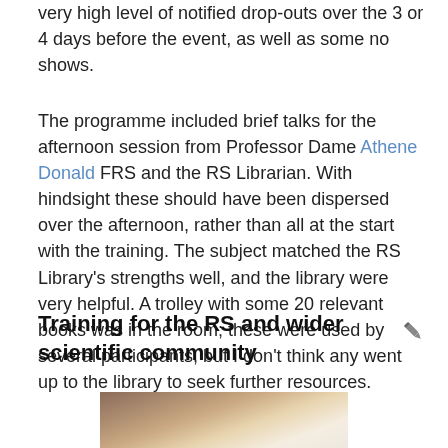very high level of notified drop-outs over the 3 or 4 days before the event, as well as some no shows.
The programme included brief talks for the afternoon session from Professor Dame Athene Donald FRS and the RS Librarian. With hindsight these should have been dispersed over the afternoon, rather than all at the start with the training. The subject matched the RS Library's strengths well, and the library were very helpful. A trolley with some 20 relevant books was in the room; these were used by several participants, but I don't think any went up to the library to seek further resources.
Training for the RS and wider scientific community
[Figure (photo): Top of a person's head with brown hair, partially visible photo at bottom of page]